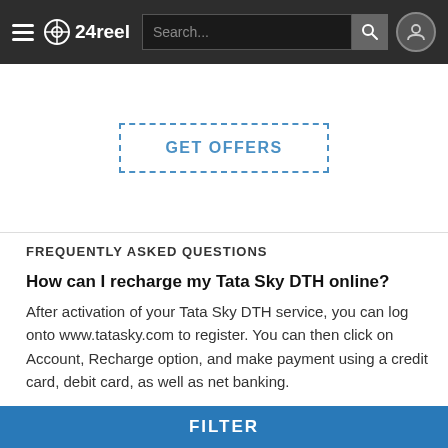24reel — navigation bar with hamburger menu, logo, search bar, and profile icon
[Figure (other): GET OFFERS button with dashed border in blue]
FREQUENTLY ASKED QUESTIONS
How can I recharge my Tata Sky DTH online?
After activation of your Tata Sky DTH service, you can log onto www.tatasky.com to register. You can then click on Account, Recharge option, and make payment using a credit card, debit card, as well as net banking.
What is theTata Sky Star Value pack?
The Tata Sky Star Value pack is one of the Regional...
FILTER